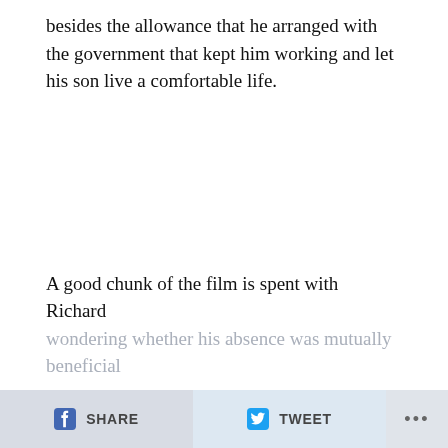besides the allowance that he arranged with the government that kept him working and let his son live a comfortable life.
A good chunk of the film is spent with Richard wondering whether his absence was mutually beneficial
SHARE  TWEET  ...